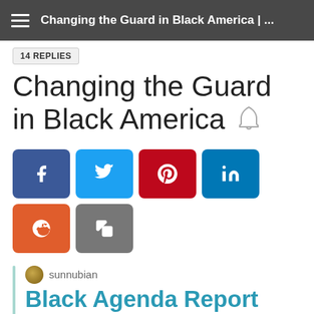Changing the Guard in Black America | ...
14 REPLIES
Changing the Guard in Black America
[Figure (infographic): Social share buttons: Facebook (blue), Twitter (light blue), Pinterest (red), LinkedIn (dark teal), Reddit (orange), Copy (gray)]
sunnubian
Black Agenda Report
Changing the Guard in Black America